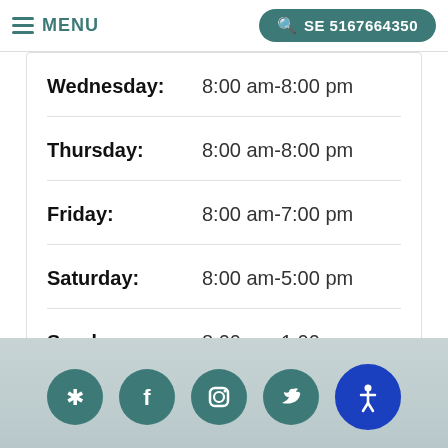MENU | SE 5167664350
Wednesday: 8:00 am-8:00 pm
Thursday: 8:00 am-8:00 pm
Friday: 8:00 am-7:00 pm
Saturday: 8:00 am-5:00 pm
Sunday: 8:00 am-1:00 pm
Social icons: Yelp, Facebook, Instagram, Twitter, Accessibility